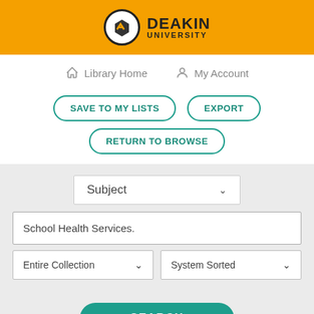[Figure (logo): Deakin University logo: shield icon in white circle on orange header bar, with DEAKIN UNIVERSITY text in bold]
Library Home
My Account
SAVE TO MY LISTS
EXPORT
RETURN TO BROWSE
Subject
School Health Services.
Entire Collection
System Sorted
SEARCH